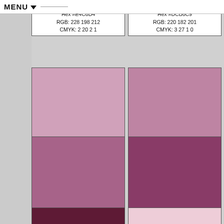MENU
[Figure (infographic): Pantone color swatches showing colors 684-689 and partial 690, with Hex, RGB, and CMYK values]
Pantone: 684
Hex #E4C6D4
RGB: 228 198 212
CMYK: 2 20 2 1
Pantone: 685
Hex #DCB6C9
RGB: 220 182 201
CMYK: 3 27 1 0
Pantone: 686
Hex #D0A1BA
RGB: 208 161 186
CMYK: 5 36 1 2
Pantone: 687
Hex #BE84A3
RGB: 190 132 163
CMYK: 10 48 2 7
Pantone: 688
Hex #A76389
RGB: 167 99 137
CMYK: 18 63 4 11
Pantone: 689
Hex #893B67
RGB: 137 59 103
CMYK: 27 81 8 28